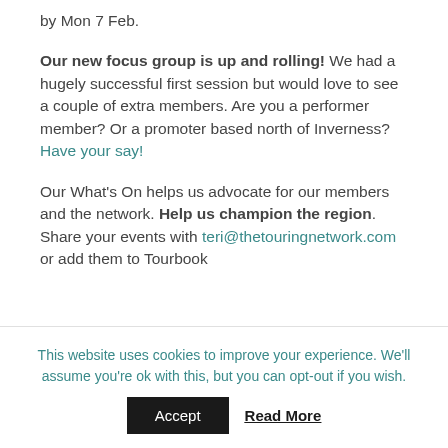by Mon 7 Feb.
Our new focus group is up and rolling! We had a hugely successful first session but would love to see a couple of extra members. Are you a performer member? Or a promoter based north of Inverness? Have your say!
Our What's On helps us advocate for our members and the network. Help us champion the region. Share your events with teri@thetouringnetwork.com or add them to Tourbook
This website uses cookies to improve your experience. We'll assume you're ok with this, but you can opt-out if you wish. Accept Read More